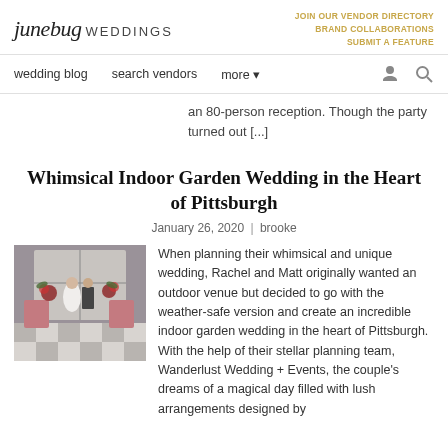junebug WEDDINGS | JOIN OUR VENDOR DIRECTORY | BRAND COLLABORATIONS | SUBMIT A FEATURE
wedding blog | search vendors | more
an 80-person reception. Though the party turned out [...]
Whimsical Indoor Garden Wedding in the Heart of Pittsburgh
January 26, 2020 | brooke
[Figure (photo): Wedding photo showing bride and groom seated in an indoor venue with ornate decor, checkered floor, and floral arrangements]
When planning their whimsical and unique wedding, Rachel and Matt originally wanted an outdoor venue but decided to go with the weather-safe version and create an incredible indoor garden wedding in the heart of Pittsburgh. With the help of their stellar planning team, Wanderlust Wedding + Events, the couple's dreams of a magical day filled with lush arrangements designed by